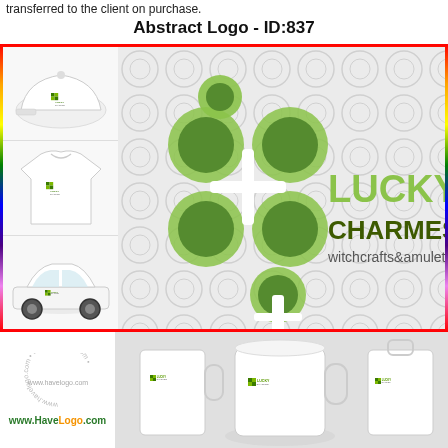transferred to the client on purchase.
Abstract Logo - ID:837
[Figure (illustration): Logo mockup display showing LUCKY CHARMES witchcrafts&amulets brand. Left column shows logo applied to cap, t-shirt, and car. Center/right shows main logo: four-leaf clover in green with LUCKY CHARMES witchcrafts&amulets text. Bottom shows mugs with logo. www.HaveLogo.com watermark.]